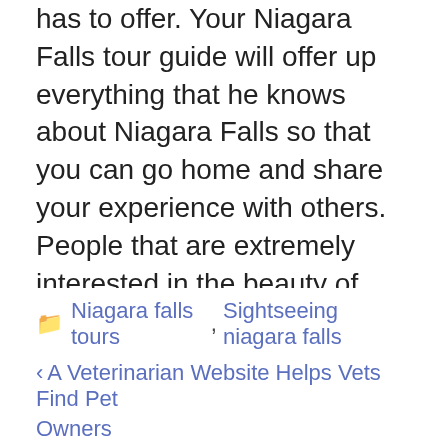has to offer. Your Niagara Falls tour guide will offer up everything that he knows about Niagara Falls so that you can go home and share your experience with others. People that are extremely interested in the beauty of nature should without a doubt take a trip to this area and explore it on a bus tour. There are plenty of other things to do nearby as well so you can fill your trip with exciting explorations. Take the time to browse the internet to compare guide services and plan out your vacation so that you can enjoy it to the maximum.
Niagara falls tours, Sightseeing niagara falls | < A Veterinarian Website Helps Vets Find Pet Owners